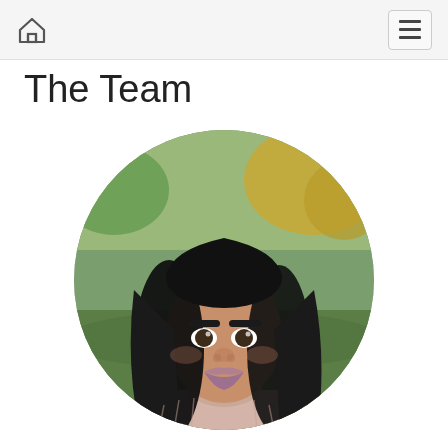The Team
[Figure (photo): Circular cropped headshot of a young woman with long black hair, wearing a light pink turtleneck sweater, photographed outdoors in a park with green and golden foliage in the background.]